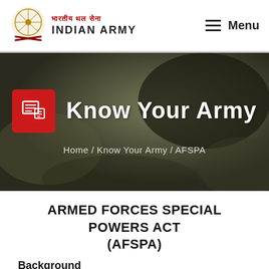[Figure (logo): Indian Army logo with emblem and text in Hindi and English, plus hamburger Menu button on right]
[Figure (screenshot): Hero banner with blurred dark background, red news icon, 'Know Your Army' title in white, breadcrumb: Home / Know Your Army / AFSPA]
ARMED FORCES SPECIAL POWERS ACT (AFSPA)
Background